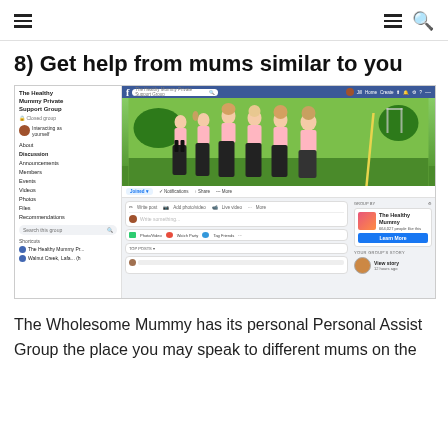navigation header with hamburger menu and search icon
8) Get help from mums similar to you
[Figure (screenshot): Screenshot of The Healthy Mummy Private Support Group Facebook page, showing the group page with a cover photo of six women in pink sports bras and black leggings on a sports field, along with the group navigation menu, post options, and a sidebar showing The Healthy Mummy brand page with 664,027 people and a Learn More button.]
The Wholesome Mummy has its personal Personal Assist Group the place you may speak to different mums on the